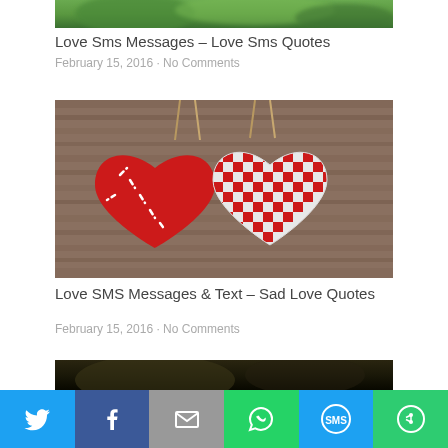[Figure (photo): Partial top photo showing green foliage/nature background (cropped, only bottom strip visible)]
Love Sms Messages – Love Sms Quotes
February 15, 2016 · No Comments
[Figure (photo): Two decorative heart-shaped cushions hanging by twine against a rustic wooden background. Left heart is solid red with white stitching, right heart is red and white checkered fabric.]
Love SMS Messages & Text – Sad Love Quotes
February 15, 2016 · No Comments
[Figure (photo): Partial bottom photo, dark/blurry image (cropped, only top strip visible)]
[Figure (infographic): Social sharing bar with six buttons: Twitter (blue bird), Facebook (blue f), Email (gray envelope), WhatsApp (green speech bubble), SMS (light blue SMS icon), More (green circular icon)]